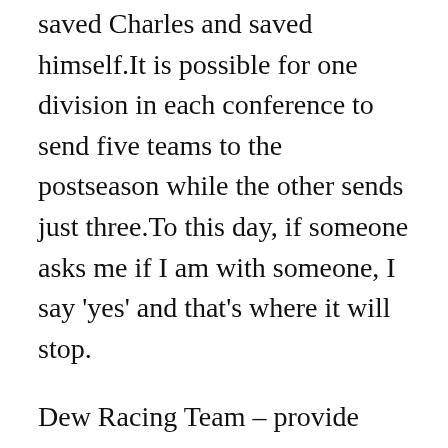saved Charles and saved himself.It is possible for one division in each conference to send five teams to the postseason while the other sends just three.To this day, if someone asks me if I am with someone, I say 'yes' and that's where it will stop.
Dew Racing Team – provide running commentary and other insights as the drive the VR courses, directing viewers to use the 360º option to look for obstacles and other unique scenes happening not just in front of but also above, behind and on both sides of the car.Plus, the rivalries are unparalleled by any other games anywhere.Last month, the NFL signed Caesars Entertainment as the league's first casino partner.